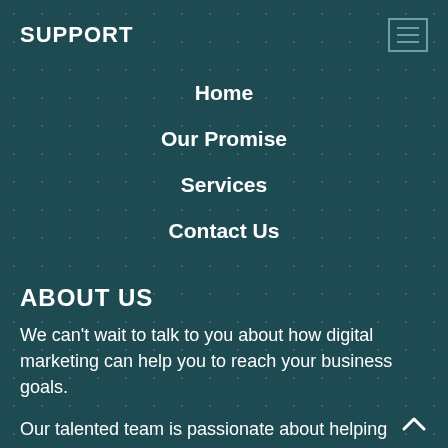SUPPORT
Home
Our Promise
Services
Contact Us
ABOUT US
We can’t wait to talk to you about how digital marketing can help you to reach your business goals.
Our talented team is passionate about helping businesses like yours multiply revenue and profits without working 15-hour days. Talk to us